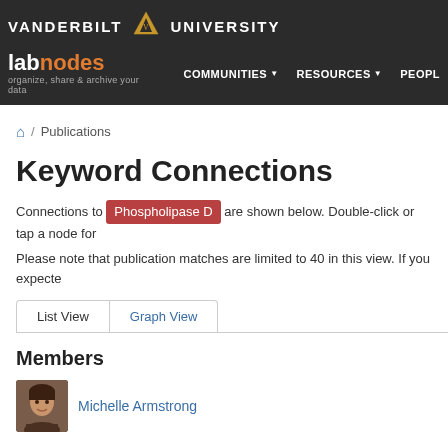[Figure (logo): Vanderbilt University labnodes header with navigation: COMMUNITIES, RESOURCES, PEOPLE]
🏠 / Publications
Keyword Connections
Connections to Phospholipase D are shown below. Double-click or tap a node for
Please note that publication matches are limited to 40 in this view. If you expecte
List View  Graph View
Members
Michelle Armstrong